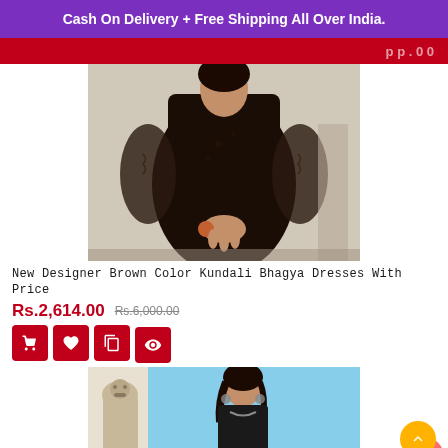Cash On Delivery + Free Shipping All Over India.
[Figure (photo): Woman wearing dark brown embroidered dress with sheer sleeves, holding hands together with floral bracelet]
New Designer Brown Color Kundali Bhagya Dresses With Price
Rs.2,614.00  Rs.6,000.00
[Figure (photo): Woman in dark outfit against light blue background, with decorative stone lion statue on left]